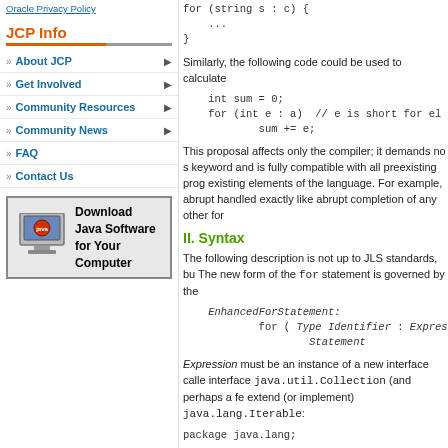Oracle Privacy Policy
JCP Info
About JCP
Get Involved
Community Resources
Community News
FAQ
Contact Us
[Figure (illustration): Download Java Software for Your Computer button with Java monitor logo]
for (string s : c) {
    ...
}
Similarly, the following code could be used to calculate
int sum = 0;
for (int e : a)  // e is short for el
        sum += e;
This proposal affects only the compiler; it demands no s keyword and is fully compatible with all preexisting pro existing elements of the language. For example, abrupt handled exactly like abrupt completion of any other for
II. Syntax
The following description is not up to JLS standards, bu The new form of the for statement is governed by the
EnhancedForStatement:
        for ( Type Identifier : Expressio
                Statement
Expression must be an instance of a new interface calle interface java.util.Collection (and perhaps a fe extend (or implement) java.lang.Iterable:
package java.lang;

public class Iterable {
    /**
     * Returns an iterator over the eleme
     * guarantees concerning the order i
     * (unless this collection is an inst
     * guarantee).
     *
     * @return an Iterator over the eleme